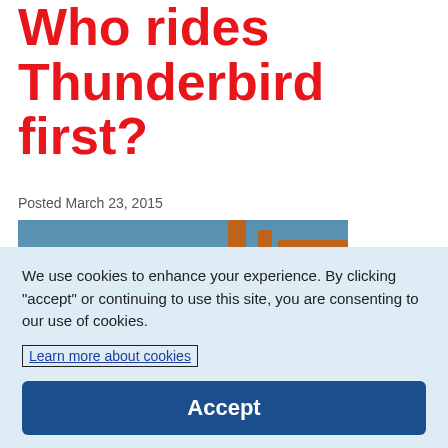Who rides Thunderbird first?
Posted March 23, 2015
[Figure (photo): First Flight Auction promotional image showing roller coaster with text 'FIRST FLIGHT AUCTION' overlaid on a blue and teal coaster train]
We use cookies to enhance your experience. By clicking "accept" or continuing to use this site, you are consenting to our use of cookies.
Learn more about cookies
Accept